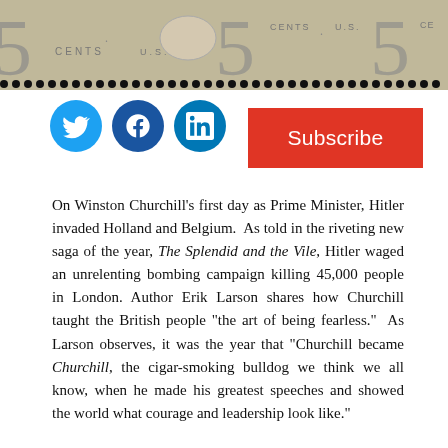[Figure (photo): Postage stamp header image showing '5 CENTS U.S.' repeated, with perforated edge dots at the bottom]
[Figure (other): Social media icons: Twitter (blue bird), Facebook (blue f), LinkedIn (blue in)]
[Figure (other): Red Subscribe button]
On Winston Churchill's first day as Prime Minister, Hitler invaded Holland and Belgium. As told in the riveting new saga of the year, The Splendid and the Vile, Hitler waged an unrelenting bombing campaign killing 45,000 people in London. Author Erik Larson shares how Churchill taught the British people “the art of being fearless.” As Larson observes, it was the year that “Churchill became Churchill, the cigar-smoking bulldog we think we all know, when he made his greatest speeches and showed the world what courage and leadership look like.”